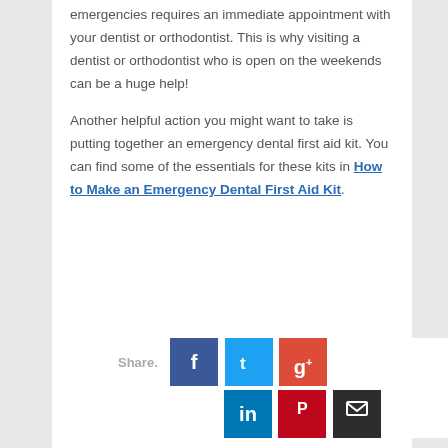emergencies requires an immediate appointment with your dentist or orthodontist. This is why visiting a dentist or orthodontist who is open on the weekends can be a huge help!
Another helpful action you might want to take is putting together an emergency dental first aid kit. You can find some of the essentials for these kits in How to Make an Emergency Dental First Aid Kit.
Share.